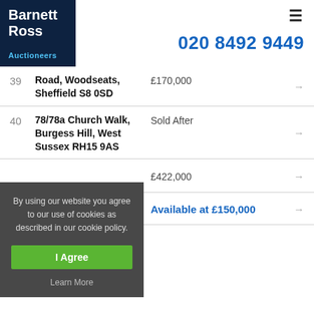[Figure (logo): Barnett Ross Auctioneers logo on dark navy background]
020 8492 9449
39 — Road, Woodseats, Sheffield S8 0SD — £170,000
40 — 78/78a Church Walk, Burgess Hill, West Sussex RH15 9AS — Sold After
£422,000
Available at £150,000
By using our website you agree to our use of cookies as described in our cookie policy.
I Agree
Learn More